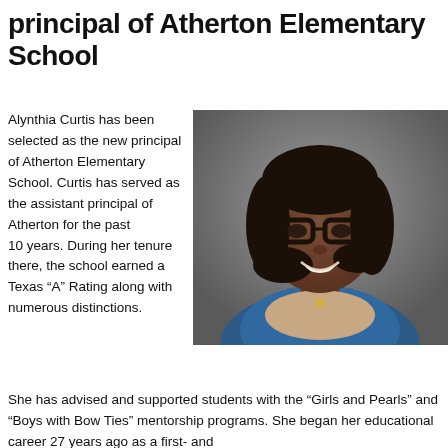principal of Atherton Elementary School
Alynthia Curtis has been selected as the new principal of Atherton Elementary School. Curtis has served as the assistant principal of Atherton for the past 10 years. During her tenure there, the school earned a Texas “A” Rating along with numerous distinctions.
[Figure (photo): Professional headshot of Alynthia Curtis, a woman with glasses and black hair wearing a blue blazer, smiling against a grey background.]
She has advised and supported students with the “Girls and Pearls” and “Boys with Bow Ties” mentorship programs. She began her educational career 27 years ago as a first- and